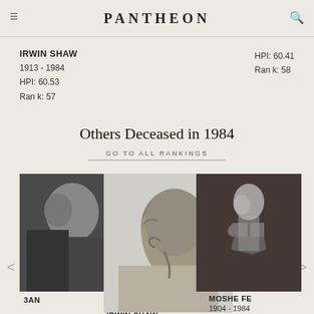PANTHEON
IRWIN SHAW
1913 - 1984
HPI: 60.53
Ran k: 57
HPI: 60.41
Ran k: 58
Others Deceased in 1984
GO TO ALL RANKINGS
[Figure (photo): Partially visible black and white photo of an older man on the left side]
3AN
[Figure (photo): Black and white profile portrait photo of Irwin Shaw facing left]
IRWIN SHAW
1913 - 1984
[Figure (photo): Black and white photo of a human skeleton model on the right side]
MOSHE FE
1904 - 1984
HPI: 60.49
Ran k: 36